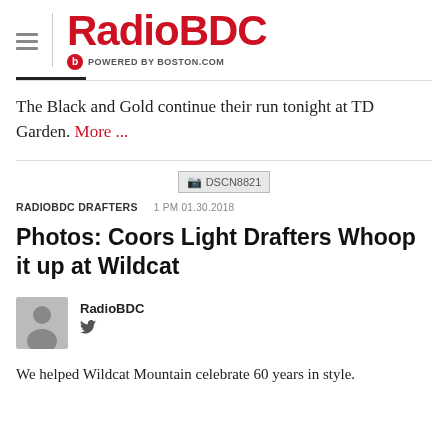RadioBDC POWERED BY BOSTON.COM
The Black and Gold continue their run tonight at TD Garden. More ...
[Figure (photo): Broken/placeholder image icon labeled DSCN8821]
RADIOBDC DRAFTERS   1 PM 01.30.2018
Photos: Coors Light Drafters Whoop it up at Wildcat
RadioBDC
We helped Wildcat Mountain celebrate 60 years in style.